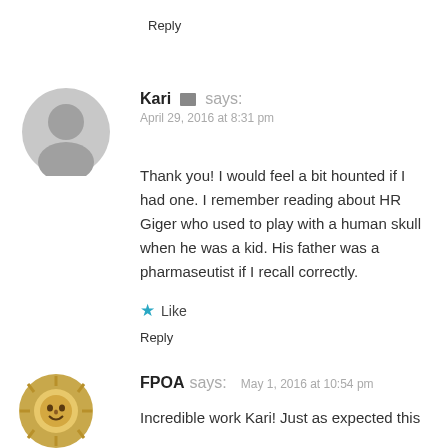Reply
[Figure (illustration): Generic grey user avatar circle with head silhouette for commenter Kari]
Kari [admin icon] says: April 29, 2016 at 8:31 pm
Thank you! I would feel a bit hounted if I had one. I remember reading about HR Giger who used to play with a human skull when he was a kid. His father was a pharmaseutist if I recall correctly.
★ Like
Reply
[Figure (illustration): Sun face coin/medallion avatar for commenter FPOA]
FPOA says: May 1, 2016 at 10:54 pm
Incredible work Kari! Just as expected this